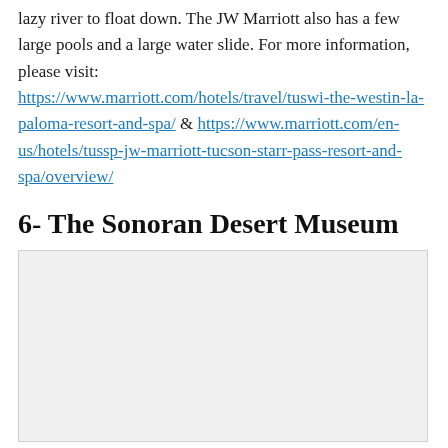lazy river to float down. The JW Marriott also has a few large pools and a large water slide. For more information, please visit: https://www.marriott.com/hotels/travel/tuswi-the-westin-la-paloma-resort-and-spa/ & https://www.marriott.com/en-us/hotels/tussp-jw-marriott-tucson-starr-pass-resort-and-spa/overview/
6- The Sonoran Desert Museum
[Figure (photo): Placeholder image area for The Sonoran Desert Museum photo]